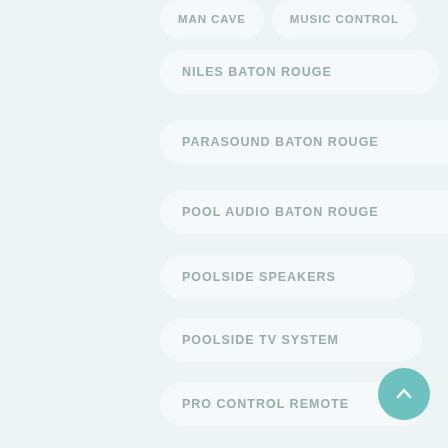MAN CAVE
MUSIC CONTROL
NILES BATON ROUGE
PARASOUND BATON ROUGE
POOL AUDIO BATON ROUGE
POOLSIDE SPEAKERS
POOLSIDE TV SYSTEM
PRO CONTROL REMOTE
PROJECTOR SCREEN BATON ROUGE
REMOTE TECHNOLOGIES
RESTAURANT TV BATON ROUGE